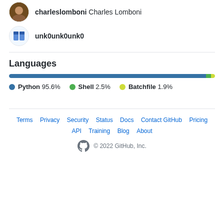charleslomboni Charles Lomboni
unk0unk0unk0
Languages
[Figure (bar-chart): Languages]
Terms  Privacy  Security  Status  Docs  Contact GitHub  Pricing  API  Training  Blog  About  © 2022 GitHub, Inc.